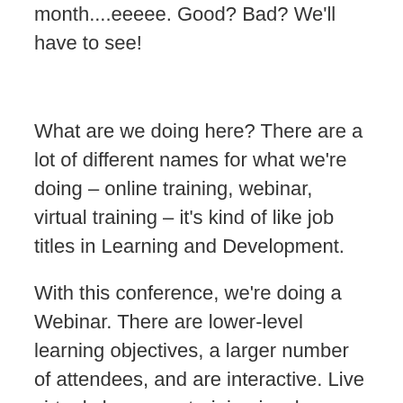month....eeeee. Good? Bad? We'll have to see!
What are we doing here? There are a lot of different names for what we're doing – online training, webinar, virtual training – it's kind of like job titles in Learning and Development.
With this conference, we're doing a Webinar. There are lower-level learning objectives, a larger number of attendees, and are interactive. Live virtual classroom training involves higher-level learning objectives,